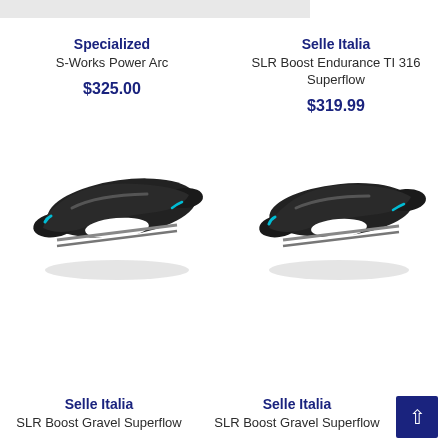Specialized
S-Works Power Arc
$325.00
Selle Italia
SLR Boost Endurance TI 316 Superflow
$319.99
[Figure (photo): Black bicycle saddle (Specialized S-Works Power Arc) with cutout, viewed from side angle]
[Figure (photo): Black bicycle saddle (Selle Italia SLR Boost Endurance TI 316 Superflow) with cutout, viewed from side angle]
Selle Italia
SLR Boost Gravel Superflow
Selle Italia
SLR Boost Gravel Superflow